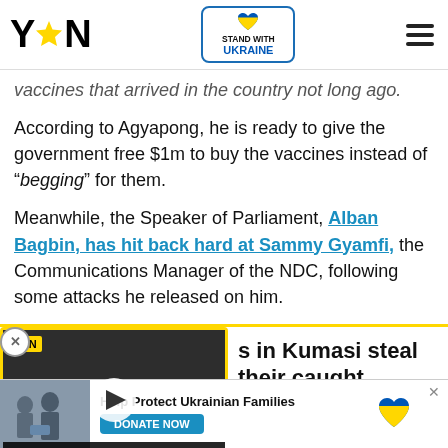YEN [logo] | Stand with Ukraine | Menu
vaccines that arrived in the country not long ago.
According to Agyapong, he is ready to give the government free $1m to buy the vaccines instead of “begging” for them.
Meanwhile, the Speaker of Parliament, Alban Bagbin, has hit back hard at Sammy Gyamfi, the Communications Manager of the NDC, following some attacks he released on him.
[Figure (screenshot): Video thumbnail showing armed soldiers in tactical gear with YEN logo overlay and play button. Bottom bar reads: GHANA NTI: BRING BACK OUR TADI GIRLS]
s in Kumasi steal their caught
[Figure (screenshot): Ad banner: Help Protect Ukrainian Families with DONATE NOW button and Ukraine heart flag icon]